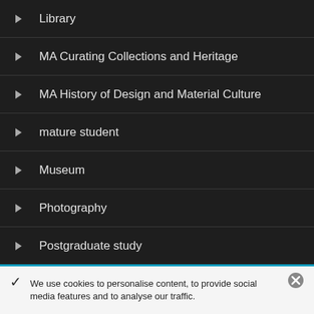Library
MA Curating Collections and Heritage
MA History of Design and Material Culture
mature student
Museum
Photography
Postgraduate study
Research
Review
Study visit
Tutorial (partial, cut off)
We use cookies to personalise content, to provide social media features and to analyse our traffic.